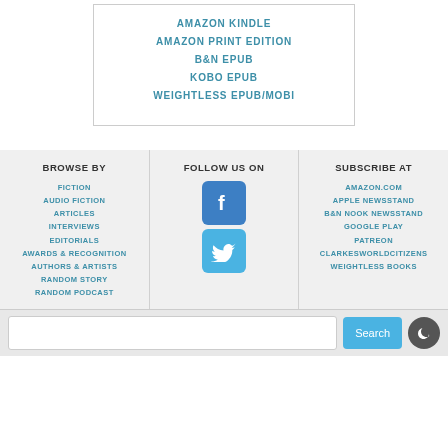AMAZON KINDLE
AMAZON PRINT EDITION
B&N EPUB
KOBO EPUB
WEIGHTLESS EPUB/MOBI
BROWSE BY
FICTION
AUDIO FICTION
ARTICLES
INTERVIEWS
EDITORIALS
AWARDS & RECOGNITION
AUTHORS & ARTISTS
RANDOM STORY
RANDOM PODCAST
FOLLOW US ON
[Figure (logo): Facebook logo icon (blue square with white F)]
[Figure (logo): Twitter logo icon (blue square with white bird)]
SUBSCRIBE AT
AMAZON.COM
APPLE NEWSSTAND
B&N NOOK NEWSSTAND
GOOGLE PLAY
PATREON
CLARKESWORLDCITIZENS
WEIGHTLESS BOOKS